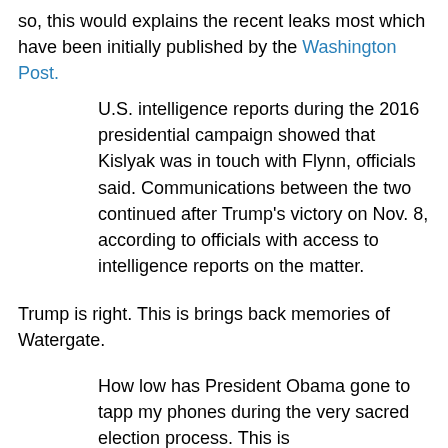so, this would explains the recent leaks most which have been initially published by the Washington Post.
U.S. intelligence reports during the 2016 presidential campaign showed that Kislyak was in touch with Flynn, officials said. Communications between the two continued after Trump’s victory on Nov. 8, according to officials with access to intelligence reports on the matter.
Trump is right. This is brings back memories of Watergate.
How low has President Obama gone to tapp my phones during the very sacred election process. This is Nixon/Watergate. Bad (or sick) guy! — Donald J. Trump (@realDonaldTrump) March 4, 2017